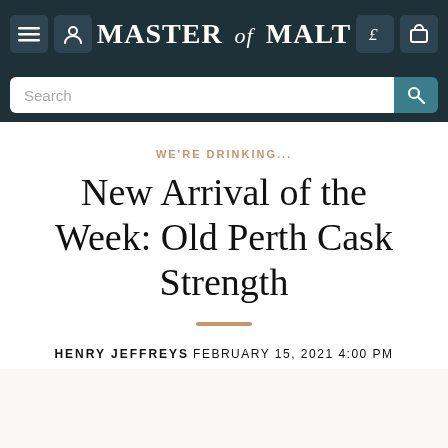MASTER of MALT
WE'RE DRINKING...
New Arrival of the Week: Old Perth Cask Strength
HENRY JEFFREYS
FEBRUARY 15, 2021 4:00 PM